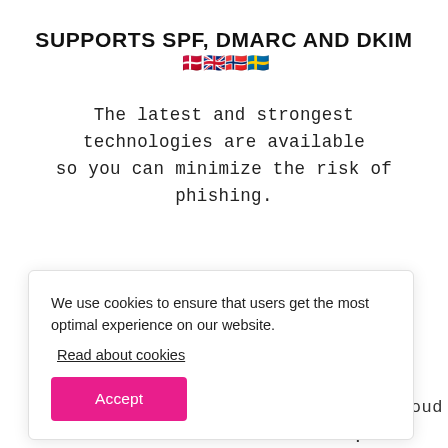SUPPORTS SPF, DMARC AND DKIM 🇩🇰🇬🇧🇳🇴🇸🇪
The latest and strongest technologies are available so you can minimize the risk of phishing.
We use cookies to ensure that users get the most optimal experience on our website.
Read about cookies
Accept